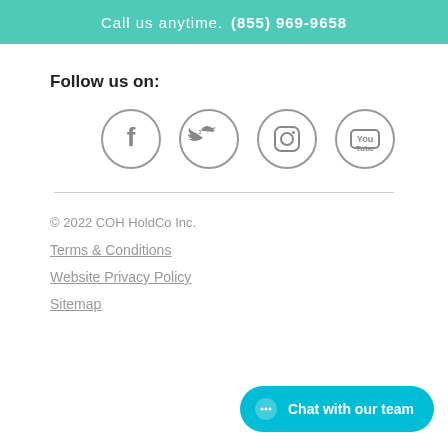Call us anytime.  (855) 969-9658
Follow us on:
[Figure (illustration): Four social media icons in circles: Facebook, Twitter, Instagram, YouTube]
© 2022 COH HoldCo Inc.
Terms & Conditions
Website Privacy Policy
Sitemap
[Figure (infographic): Chat with our team button with chat bubble icon]